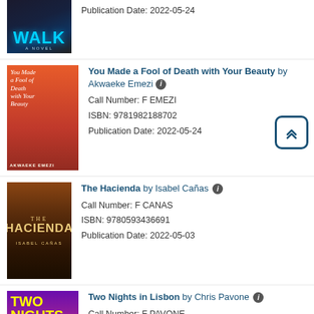[Figure (illustration): Partial book cover for a novel with word WALK visible in blue letters on dark background]
Publication Date: 2022-05-24
[Figure (illustration): Book cover: You Made a Fool of Death with Your Beauty by Akwaeke Emezi, red/orange cover with cursive white script]
You Made a Fool of Death with Your Beauty by Akwaeke Emezi
Call Number: F EMEZI
ISBN: 9781982188702
Publication Date: 2022-05-24
[Figure (illustration): Book cover: The Hacienda by Isabel Cañas, dark moody cover with woman in red dress and church tower]
The Hacienda by Isabel Cañas
Call Number: F CANAS
ISBN: 9780593436691
Publication Date: 2022-05-03
[Figure (illustration): Book cover: Two Nights in Lisbon by Chris Pavone, purple/magenta cover]
Two Nights in Lisbon by Chris Pavone
Call Number: F PAVONE
ISBN: 9780374694760